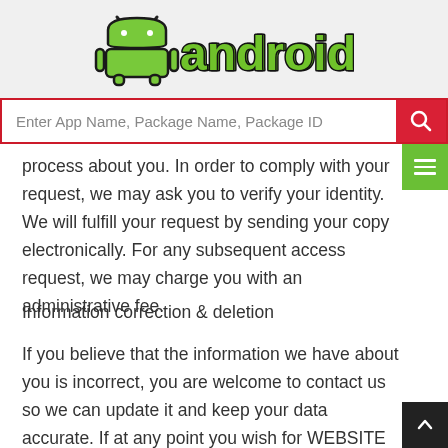[Figure (logo): androiddb logo — green Android robot icon next to bold 'androiddb' text with black outline]
Enter App Name, Package Name, Package ID
process about you. In order to comply with your request, we may ask you to verify your identity. We will fulfill your request by sending your copy electronically. For any subsequent access request, we may charge you with an administrative fee.
Information correction & deletion
If you believe that the information we have about you is incorrect, you are welcome to contact us so we can update it and keep your data accurate. If at any point you wish for WEBSITE to delete information